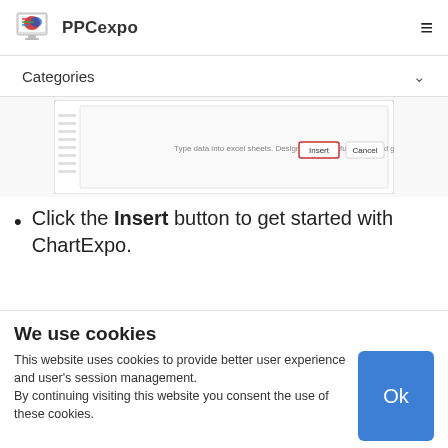PPCexpo
Categories
[Figure (screenshot): Screenshot of ChartExpo insert dialog with Insert and Cancel buttons]
Click the Insert button to get started with ChartExpo.
Click the Search Box and type “Sentiment
We use cookies
This website uses cookies to provide better user experience and user’s session management.
By continuing visiting this website you consent the use of these cookies.